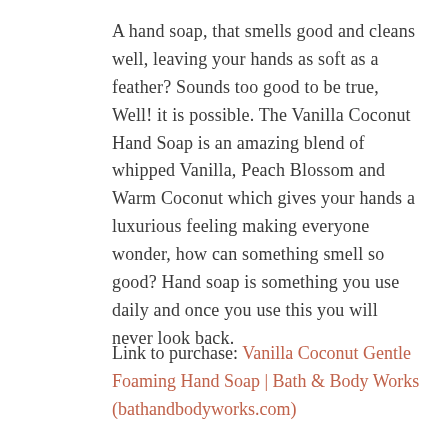A hand soap, that smells good and cleans well, leaving your hands as soft as a feather? Sounds too good to be true, Well! it is possible. The Vanilla Coconut Hand Soap is an amazing blend of whipped Vanilla, Peach Blossom and Warm Coconut which gives your hands a luxurious feeling making everyone wonder, how can something smell so good? Hand soap is something you use daily and once you use this you will never look back.
Link to purchase: Vanilla Coconut Gentle Foaming Hand Soap | Bath & Body Works (bathandbodyworks.com)